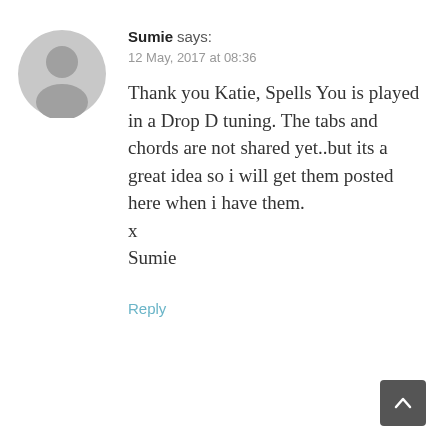[Figure (illustration): Grey circular avatar placeholder icon with silhouette of a person]
Sumie says:
12 May, 2017 at 08:36
Thank you Katie, Spells You is played in a Drop D tuning. The tabs and chords are not shared yet..but its a great idea so i will get them posted here when i have them.
x
Sumie
Reply